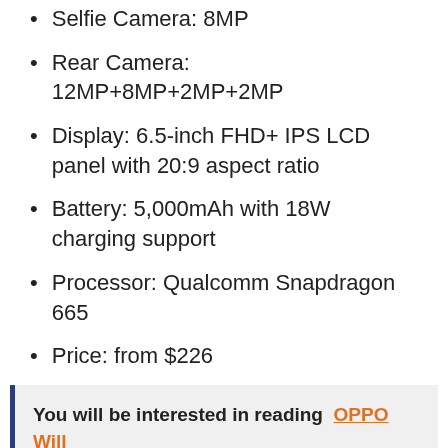Selfie Camera: 8MP
Rear Camera: 12MP+8MP+2MP+2MP
Display: 6.5-inch FHD+ IPS LCD panel with 20:9 aspect ratio
Battery: 5,000mAh with 18W charging support
Processor: Qualcomm Snapdragon 665
Price: from $226
You will be interested in reading OPPO Will Unveil NPU AI and New Smart Glasses at INNO Day 2021